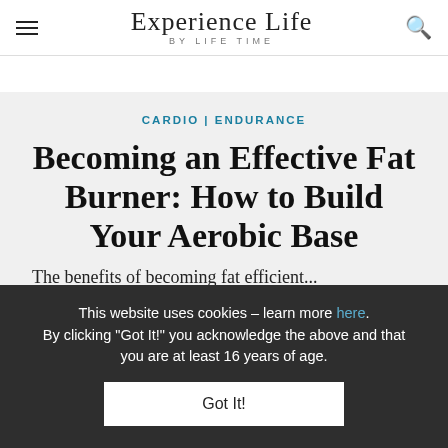Experience Life BY LIFE TIME
CARDIO | ENDURANCE
Becoming an Effective Fat Burner: How to Build Your Aerobic Base
The benefits of becoming fat efficient...
This website uses cookies – learn more here. By clicking "Got It!" you acknowledge the above and that you are at least 16 years of age.
Got It!